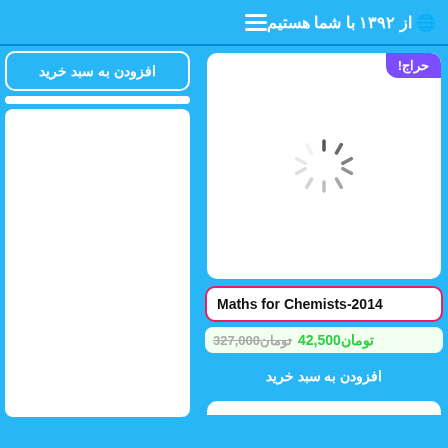🌐 از ۱۳۹۲ با شما هستیم
[Figure (screenshot): Loading spinner (animated dashes in circle pattern) inside a white product card with rounded corners and cyan border. A purple auction badge 'حراج!' is in top right corner.]
Maths for Chemists-2014
327,000 تومان  42,500 تومان
افزودن به سبد خرید
افزودن به سبد خرید